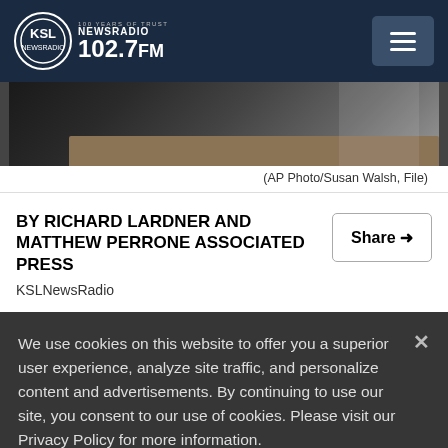KSL NewsRadio 102.7FM — 100 Years of Trust
[Figure (photo): Cropped photo of a person in a dark suit at what appears to be a hearing or formal setting, with a wooden desk/podium visible, partially cut off at top]
(AP Photo/Susan Walsh, File)
BY RICHARD LARDNER AND MATTHEW PERRONE ASSOCIATED PRESS
KSLNewsRadio
We use cookies on this website to offer you a superior user experience, analyze site traffic, and personalize content and advertisements. By continuing to use our site, you consent to our use of cookies. Please visit our Privacy Policy for more information.